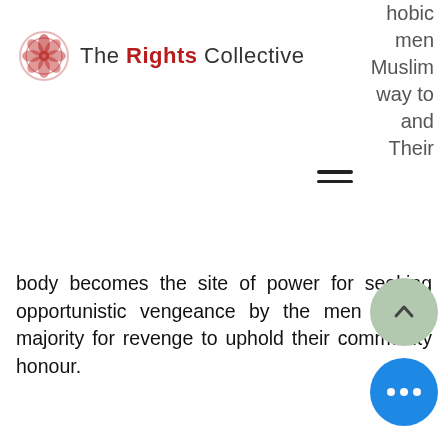The Rights Collective
hobic men Muslim way to and Their body becomes the site of power for seeking opportunistic vengeance by the men of the majority for revenge to uphold their community honour.
The anti-conversion laws (whose underlying objective is to restrict inter-religious marriages) brought in by states like Uttar Pr... further encourage the policing of our lives and desires. They tie the notion of honour to our bodie... establish men as able ... aggressive protectors. The state's